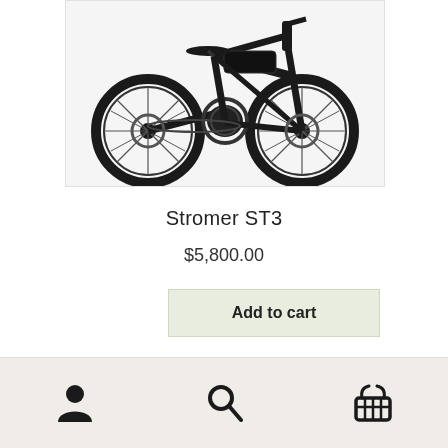[Figure (photo): Partial view of a Stromer ST3 electric bicycle (e-bike) showing the wheels, drivetrain, motor, and disc brakes against a light grey background.]
Stromer ST3
$5,800.00
Add to cart
Search...
[Figure (illustration): Bottom navigation bar with three icons: person/account icon on the left, search/magnifying glass icon in the center, and shopping basket/cart icon on the right.]